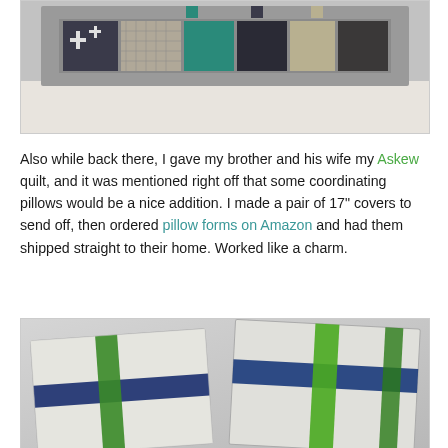[Figure (photo): Close-up photo of a quilt with gray border and colorful patchwork blocks including dark navy cross pattern, teal, and green fabrics on gray background]
Also while back there, I gave my brother and his wife my Askew quilt, and it was mentioned right off that some coordinating pillows would be a nice addition. I made a pair of 17" covers to send off, then ordered pillow forms on Amazon and had them shipped straight to their home. Worked like a charm.
[Figure (photo): Two pillow covers side by side with white/gray background fabric featuring a plus/cross pattern in navy blue and bright green, matching the Askew quilt design]